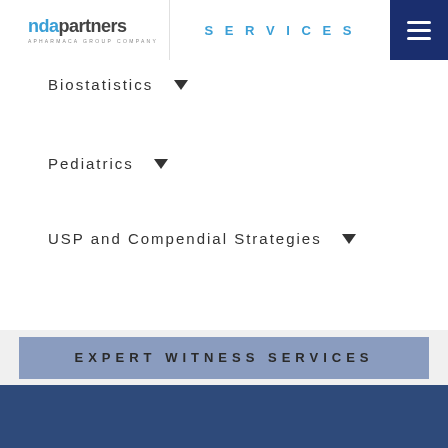[Figure (logo): NDA Partners logo with text 'ndapartners A PharMerica Group Company']
SERVICES
Biostatistics ▼
Pediatrics ▼
USP and Compendial Strategies ▼
EXPERT WITNESS SERVICES
[Figure (logo): NDA Partners logo watermark in blue footer area with house/home icon shape]